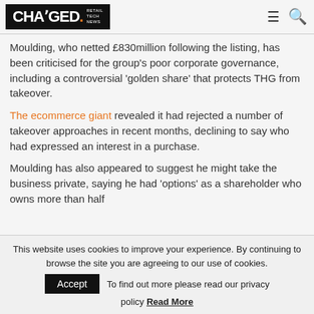CHARGED. RETAIL TECH NEWS
Moulding, who netted £830million following the listing, has been criticised for the group's poor corporate governance, including a controversial 'golden share' that protects THG from takeover.
The ecommerce giant revealed it had rejected a number of takeover approaches in recent months, declining to say who had expressed an interest in a purchase.
Moulding has also appeared to suggest he might take the business private, saying he had 'options' as a shareholder who owns more than half
This website uses cookies to improve your experience. By continuing to browse the site you are agreeing to our use of cookies. Accept To find out more please read our privacy policy Read More